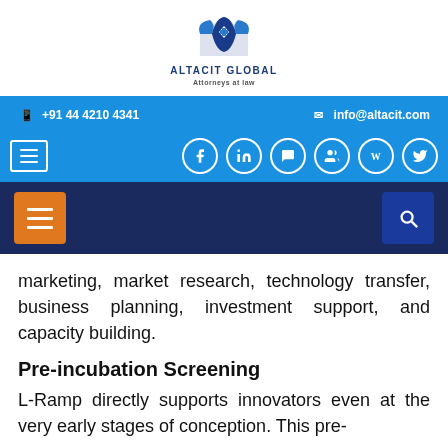[Figure (logo): Altacit Global logo with house/hand icon and tagline 'Attorneys at law']
+91 44 4210 4341   info@altacit.com
[Figure (infographic): Social media icons bar: Facebook, LinkedIn, Messenger, Groups, Wikipedia, Twitter]
[Figure (infographic): Navigation bar with orange hamburger menu on left and blue search button on right, dark navy background]
marketing, market research, technology transfer, business planning, investment support, and capacity building.
Pre-incubation Screening
L-Ramp directly supports innovators even at the very early stages of conception. This pre-